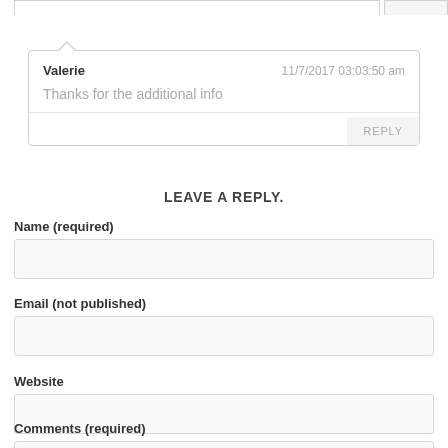Valerie   11/7/2017 03:03:50 am
Thanks for the additional info
REPLY
LEAVE A REPLY.
Name (required)
Email (not published)
Website
Comments (required)